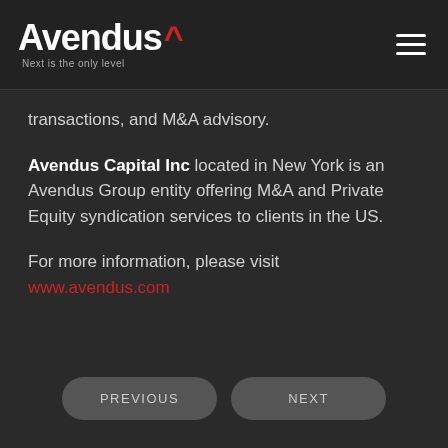Avendus ^ Next is the only level
transactions, and M&A advisory.
Avendus Capital Inc located in New York is an Avendus Group entity offering M&A and Private Equity syndication services to clients in the US.
For more information, please visit www.avendus.com